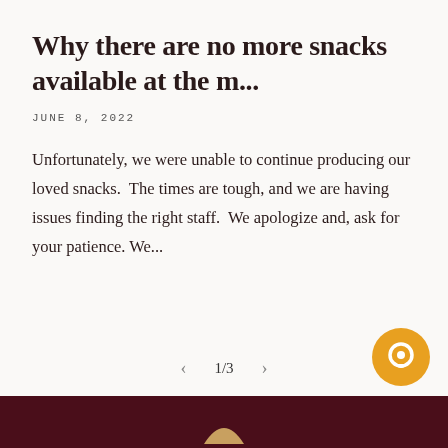Why there are no more snacks available at the m...
JUNE 8, 2022
Unfortunately, we were unable to continue producing our loved snacks.  The times are tough, and we are having issues finding the right staff.  We apologize and, ask for your patience. We...
1/3
[Figure (illustration): Orange circular chat bubble icon button in bottom right corner]
Dark maroon footer bar with partial logo